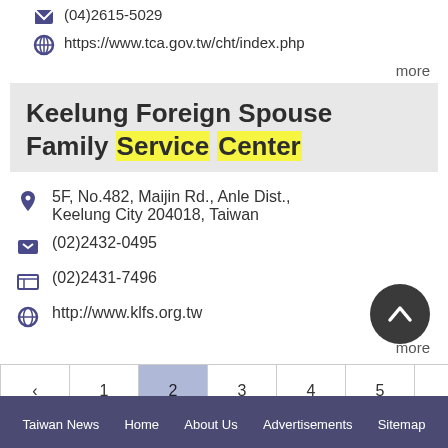(04)2615-5029
https://www.tca.gov.tw/cht/index.php
more
Keelung Foreign Spouse Family Service Center
5F, No.482, Maijin Rd., Anle Dist., Keelung City 204018, Taiwan
(02)2432-0495
(02)2431-7496
http://www.klfs.org.tw
more
‹ 1 2 3 4 5 6 7 8 9 10 ... 15
16 ›
Taiwan News  Home  About Us  Advertisements  Sitemap